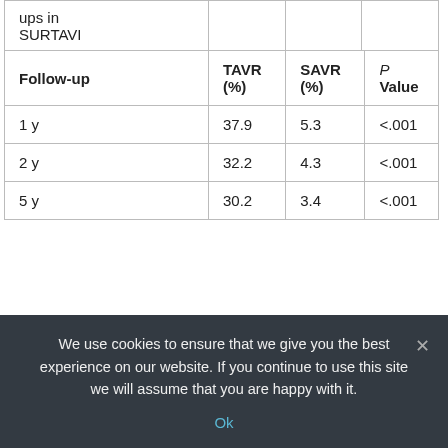| Follow-up | TAVR (%) | SAVR (%) | P Value |
| --- | --- | --- | --- |
| 1 y | 37.9 | 5.3 | <.001 |
| 2 y | 32.2 | 4.3 | <.001 |
| 5 y | 30.2 | 3.4 | <.001 |
Whereas TAVR in younger patients at intermediate surgical risk may still warrant caution, such use routinely in SURTAVI-like patients in practice seems
We use cookies to ensure that we give you the best experience on our website. If you continue to use this site we will assume that you are happy with it.